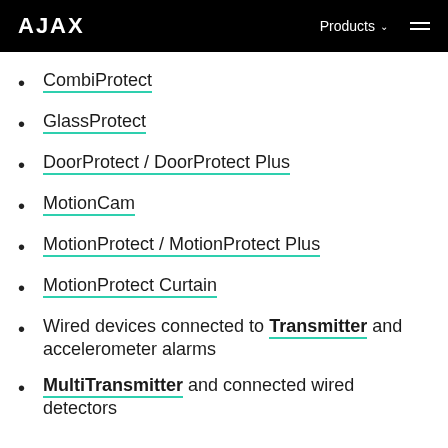AJAX  Products  ☰
CombiProtect
GlassProtect
DoorProtect / DoorProtect Plus
MotionCam
MotionProtect / MotionProtect Plus
MotionProtect Curtain
Wired devices connected to Transmitter and accelerometer alarms
MultiTransmitter and connected wired detectors